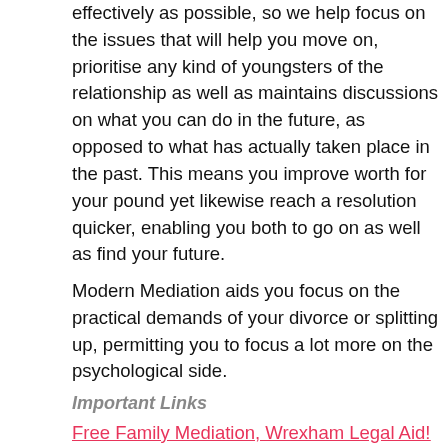effectively as possible, so we help focus on the issues that will help you move on, prioritise any kind of youngsters of the relationship as well as maintains discussions on what you can do in the future, as opposed to what has actually taken place in the past. This means you improve worth for your pound yet likewise reach a resolution quicker, enabling you both to go on as well as find your future.
Modern Mediation aids you focus on the practical demands of your divorce or splitting up, permitting you to focus a lot more on the psychological side.
Important Links
Free Family Mediation, Wrexham Legal Aid!